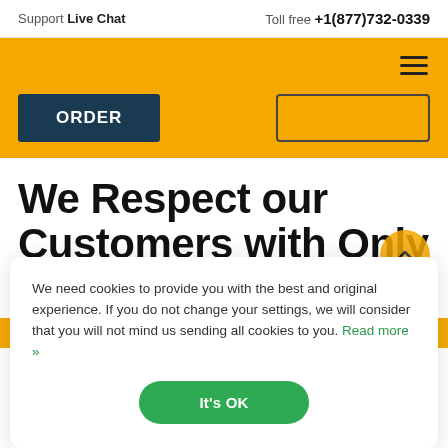Support Live Chat   Toll free +1(877)732-0339
ORDER
We Respect our Customers with Only Original Writing
We need cookies to provide you with the best and original experience. If you do not change your settings, we will consider that you will not mind us sending all cookies to you. Read more »
It's OK